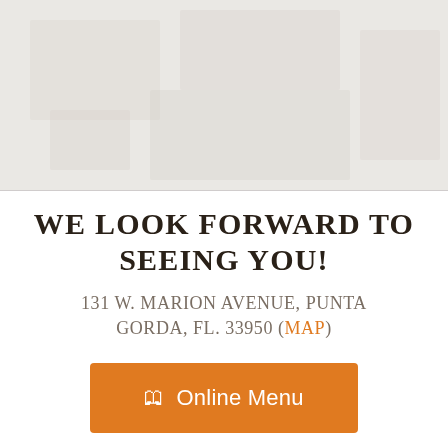[Figure (photo): Faded/washed out background photo of a restaurant or outdoor area, light gray-beige tones]
WE LOOK FORWARD TO SEEING YOU!
131 W. MARION AVENUE, PUNTA GORDA, FL. 33950 (MAP)
🕮 Online Menu